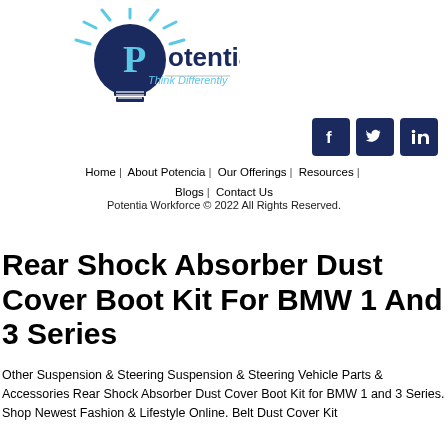[Figure (logo): Potentia logo — lightbulb with 'P' letter inside, text 'Potentia Think Differently']
[Figure (other): Social media icon buttons: Facebook, Twitter, LinkedIn — dark navy square icons]
Home  |  About Potencia  |  Our Offerings  |  Resources  |  Blogs  |  Contact Us
Potentia Workforce © 2022 All Rights Reserved.
Rear Shock Absorber Dust Cover Boot Kit For BMW 1 And 3 Series
Other Suspension & Steering Suspension & Steering Vehicle Parts & Accessories Rear Shock Absorber Dust Cover Boot Kit for BMW 1 and 3 Series. Shop Newest Fashion & Lifestyle Online. Belt Dust Cover Kit